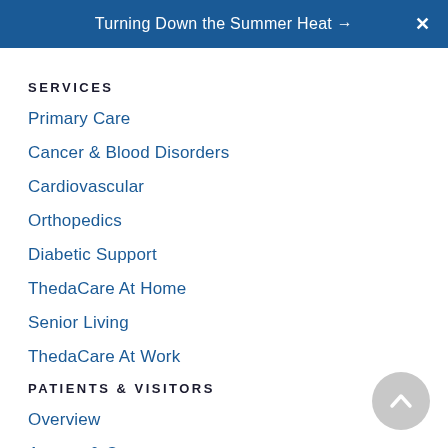Turning Down the Summer Heat →
SERVICES
Primary Care
Cancer & Blood Disorders
Cardiovascular
Orthopedics
Diabetic Support
ThedaCare At Home
Senior Living
ThedaCare At Work
PATIENTS & VISITORS
Overview
Access & Care
Billing & Payment